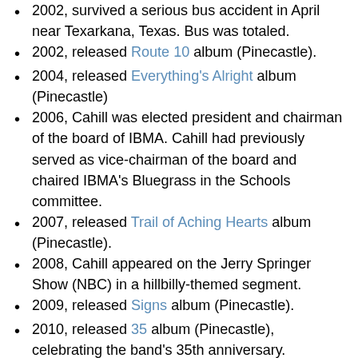2002, survived a serious bus accident in April near Texarkana, Texas. Bus was totaled.
2002, released Route 10 album (Pinecastle).
2004, released Everything's Alright album (Pinecastle)
2006, Cahill was elected president and chairman of the board of IBMA. Cahill had previously served as vice-chairman of the board and chaired IBMA's Bluegrass in the Schools committee.
2007, released Trail of Aching Hearts album (Pinecastle).
2008, Cahill appeared on the Jerry Springer Show (NBC) in a hillbilly-themed segment.
2009, released Signs album (Pinecastle).
2010, released 35 album (Pinecastle), celebrating the band's 35th anniversary.
2012, released Scratch Gravel Road album (Compass).
2013, released album Country Boy: A Bluegrass